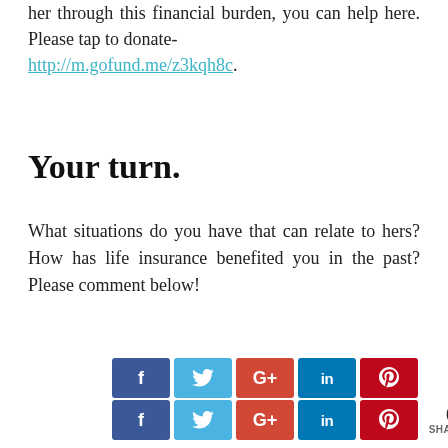her through this financial burden, you can help here. Please tap to donate- http://m.gofund.me/z3kqh8c.
Your turn.
What situations do you have that can relate to hers? How has life insurance benefited you in the past? Please comment below!
[Figure (infographic): Two rows of social media share buttons: Facebook (blue), Twitter (light blue), Google+ (red), LinkedIn (dark blue), Pinterest (dark red). Second row has same buttons plus a '0 SHARES' counter.]